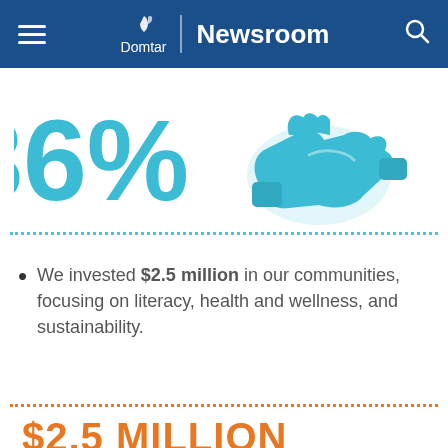Domtar | Newsroom
[Figure (infographic): Large teal '86%' text with a teal handshake icon to the right]
We invested $2.5 million in our communities, focusing on literacy, health and wellness, and sustainability.
$2.5 MILLION